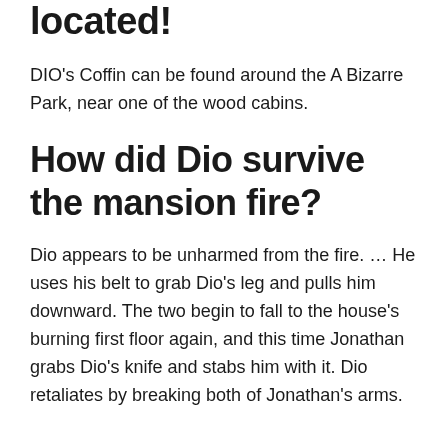located!
DIO's Coffin can be found around the A Bizarre Park, near one of the wood cabins.
How did Dio survive the mansion fire?
Dio appears to be unharmed from the fire. … He uses his belt to grab Dio's leg and pulls him downward. The two begin to fall to the house's burning first floor again, and this time Jonathan grabs Dio's knife and stabs him with it. Dio retaliates by breaking both of Jonathan's arms.